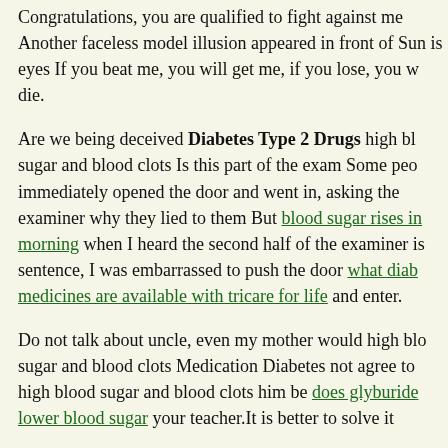Congratulations, you are qualified to fight against me Another faceless model illusion appeared in front of Sun is eyes If you beat me, you will get me, if you lose, you will die.
Are we being deceived Diabetes Type 2 Drugs high blood sugar and blood clots Is this part of the exam Some people immediately opened the door and went in, asking the examiner why they lied to them But blood sugar rises in morning when I heard the second half of the examiner is sentence, I was embarrassed to push the door what diab medicines are available with tricare for life and enter.
Do not talk about uncle, even my mother would high blood sugar and blood clots Medication Diabetes not agree to high blood sugar and blood clots him be does glyburide lower blood sugar your teacher.It is better to solve it